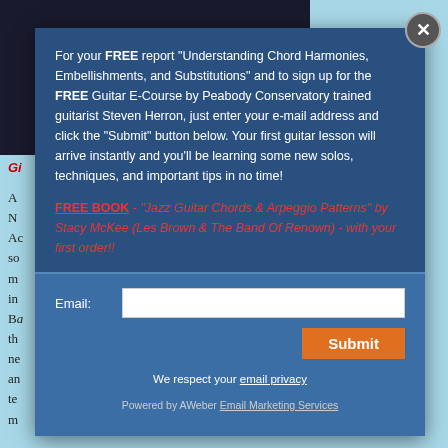[Figure (screenshot): Background webpage with dark video thumbnail area showing a play button, and partial red/black body text visible behind the modal overlay]
For your FREE report "Understanding Chord Harmonies, Embellishments, and Substitutions" and to sign up for the FREE Guitar E-Course by Peabody Conservatory trained guitarist Steven Herron, just enter your e-mail address and click the "Submit" button below. Your first guitar lesson will arrive instantly and you'll be learning some new solos, techniques, and important tips in no time!
FREE BOOK - "Jazz Guitar Chords & Arpeggio Patterns" by Stacy McKee (Les Brown & The Band Of Renown) - with your first order!!
Email:
Submit
We respect your email privacy
Powered by AWeber Email Marketing Services